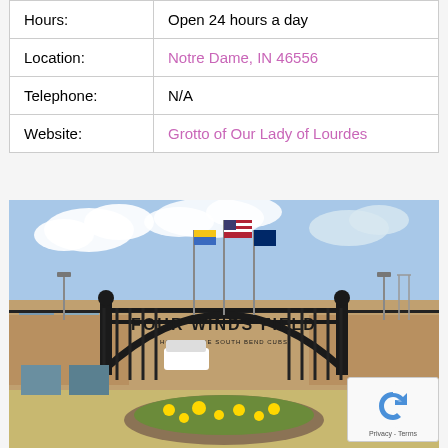| Label | Value |
| --- | --- |
| Hours: | Open 24 hours a day |
| Location: | Notre Dame, IN 46556 |
| Telephone: | N/A |
| Website: | Grotto of Our Lady of Lourdes |
[Figure (photo): Entrance gate to Four Winds Field baseball stadium with arched sign reading FOUR WINDS FIELD HOME OF THE SOUTH BEND CUBS, multiple flags including US flag, yellow and blue flag, and Indiana state flag flying above, brick building visible behind fence, circular flower garden in foreground, a reCAPTCHA privacy badge in bottom right corner]